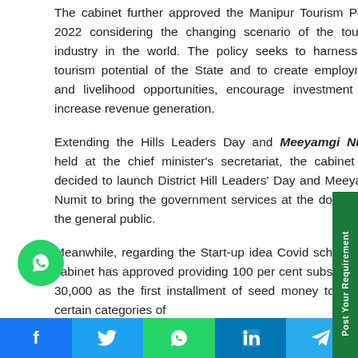The cabinet further approved the Manipur Tourism Policy 2022 considering the changing scenario of the tourism industry in the world. The policy seeks to harness the tourism potential of the State and to create employment and livelihood opportunities, encourage investment and increase revenue generation.
Extending the Hills Leaders Day and Meeyamgi Numit held at the chief minister's secretariat, the cabinet has decided to launch District Hill Leaders' Day and Meeyamgi Numit to bring the government services at the doorstep of the general public.
Meanwhile, regarding the Start-up idea Covid scheme, the cabinet has approved providing 100 per cent subsidy of Rs 30,000 as the first installment of seed money to support certain categories of